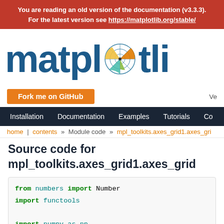You are reading an old version of the documentation (v3.3.3). For the latest version see https://matplotlib.org/stable/
[Figure (logo): Matplotlib logo with text 'matplotlib' and a radar/polar chart icon in the letter 'o']
Fork me on GitHub
Ve...
Installation   Documentation   Examples   Tutorials   Co...
home | contents » Module code » mpl_toolkits.axes_grid1.axes_gri...
Source code for mpl_toolkits.axes_grid1.axes_grid
from numbers import Number
import functools

import numpy as np